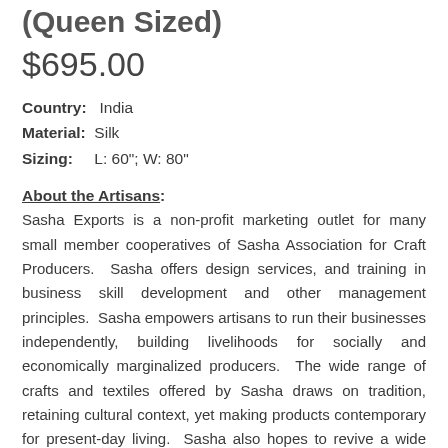(Queen Sized)
$695.00
Country: India
Material: Silk
Sizing: L: 60"; W: 80"
About the Artisans:
Sasha Exports is a non-profit marketing outlet for many small member cooperatives of Sasha Association for Craft Producers.  Sasha offers design services, and training in business skill development and other management principles.  Sasha empowers artisans to run their businesses independently, building livelihoods for socially and economically marginalized producers.  The wide range of crafts and textiles offered by Sasha draws on tradition, retaining cultural context, yet making products contemporary for present-day living.  Sasha also hopes to revive a wide variety of dying handicraft traditions.  For many artisans, handicraft